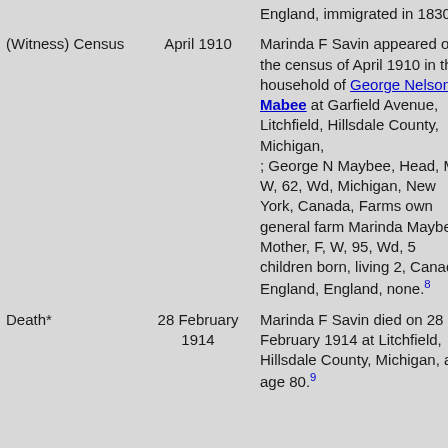| Event | Date | Description |
| --- | --- | --- |
|  |  | England, immigrated in 1830.7 |
| (Witness) Census | April 1910 | Marinda F Savin appeared on the census of April 1910 in the household of George Nelson Mabee at Garfield Avenue, Litchfield, Hillsdale County, Michigan, ; George N Maybee, Head, M, W, 62, Wd, Michigan, New York, Canada, Farms own general farm Marinda Maybee, Mother, F, W, 95, Wd, 5 children born, living 2, Canada, England, England, none.8 |
| Death* | 28 February 1914 | Marinda F Savin died on 28 February 1914 at Litchfield, Hillsdale County, Michigan, at age 80.9 |